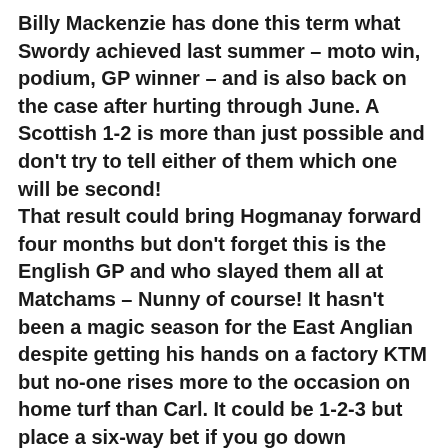Billy Mackenzie has done this term what Swordy achieved last summer – moto win, podium, GP winner – and is also back on the case after hurting through June. A Scottish 1-2 is more than just possible and don't try to tell either of them which one will be second! That result could bring Hogmanay forward four months but don't forget this is the English GP and who slayed them all at Matchams – Nunny of course! It hasn't been a magic season for the East Anglian despite getting his hands on a factory KTM but no-one rises more to the occasion on home turf than Carl. It could be 1-2-3 but place a six-way bet if you go down Ladbrokes with your last tenner! Not that there isn't plenty of foreign menace in the air to contend with in MX2.